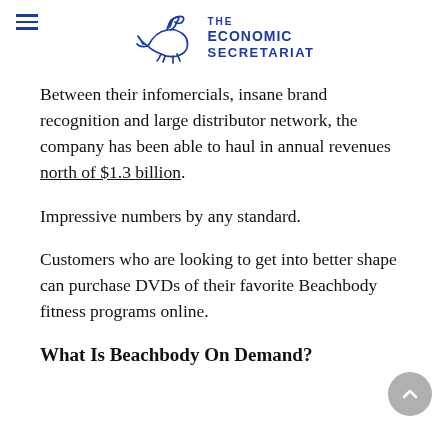THE ECONOMIC SECRETARIAT
Between their infomercials, insane brand recognition and large distributor network, the company has been able to haul in annual revenues north of $1.3 billion.
Impressive numbers by any standard.
Customers who are looking to get into better shape can purchase DVDs of their favorite Beachbody fitness programs online.
What Is Beachbody On Demand?